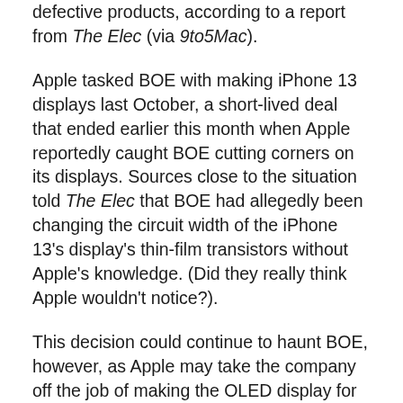defective products, according to a report from The Elec (via 9to5Mac).
Apple tasked BOE with making iPhone 13 displays last October, a short-lived deal that ended earlier this month when Apple reportedly caught BOE cutting corners on its displays. Sources close to the situation told The Elec that BOE had allegedly been changing the circuit width of the iPhone 13's display's thin-film transistors without Apple's knowledge. (Did they really think Apple wouldn't notice?).
This decision could continue to haunt BOE, however, as Apple may take the company off the job of making the OLED display for the iPhone 14 as well. According to The Elec, BOE sent an executive to Apple to...